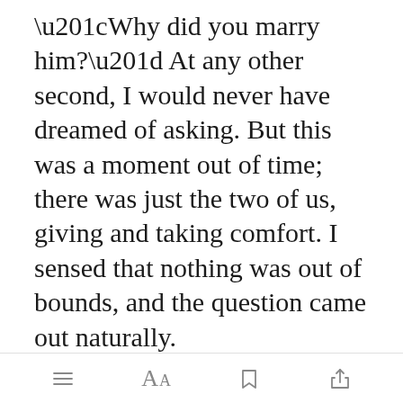“Why did you marry him?” At any other second, I would never have dreamed of asking. But this was a moment out of time; there was just the two of us, giving and taking comfort. I sensed that nothing was out of bounds, and the question came out naturally.
“I had no choice.” Her voice was hoarse with te[Open in app]bitterness.
[Figure (screenshot): App toolbar at the bottom with menu (three lines), font size (Aa), bookmark, and share icons. A green 'Open in app' button overlay appears in the text.]